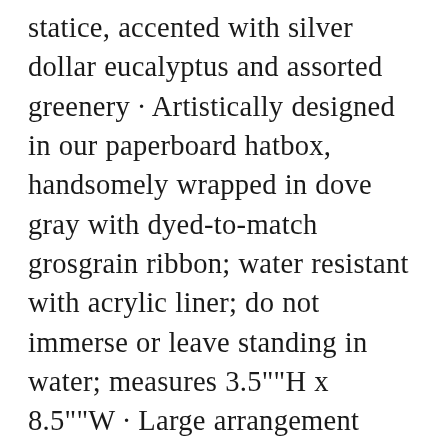statice, accented with silver dollar eucalyptus and assorted greenery · Artistically designed in our paperboard hatbox, handsomely wrapped in dove gray with dyed-to-match grosgrain ribbon; water resistant with acrylic liner; do not immerse or leave standing in water; measures 3.5""H x 8.5""W · Large arrangement measures approximately 8""H x 15.5""W · Medium arrangement measures approximately 7.5""H x 15""W · Small arrangement measures approximately 7""H x 14.5""W · Our florists hand-design each arrangement, so colors and